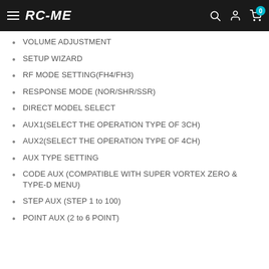RC-ME
VOLUME ADJUSTMENT
SETUP WIZARD
RF MODE SETTING(FH4/FH3)
RESPONSE MODE (NOR/SHR/SSR)
DIRECT MODEL SELECT
AUX1(SELECT THE OPERATION TYPE OF 3CH)
AUX2(SELECT THE OPERATION TYPE OF 4CH)
AUX TYPE SETTING
CODE AUX (COMPATIBLE WITH SUPER VORTEX ZERO & TYPE-D MENU)
STEP AUX (STEP 1 to 100)
POINT AUX (2 to 6 POINT)